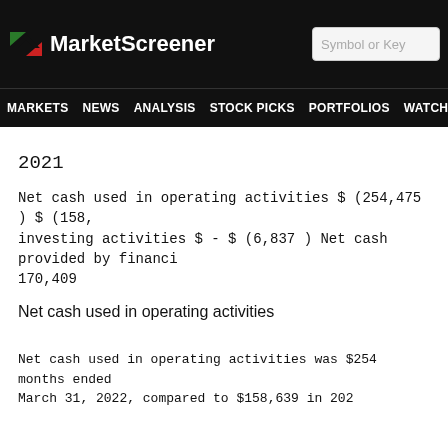MarketScreener — MARKETS NEWS ANALYSIS STOCK PICKS PORTFOLIOS WATCHLI
2021
Net cash used in operating activities $ (254,475 ) $ (158, investing activities $ - $ (6,837 ) Net cash provided by financi 170,409
Net cash used in operating activities
Net cash used in operating activities was $254 months ended
March 31, 2022, compared to $158,639 in 202